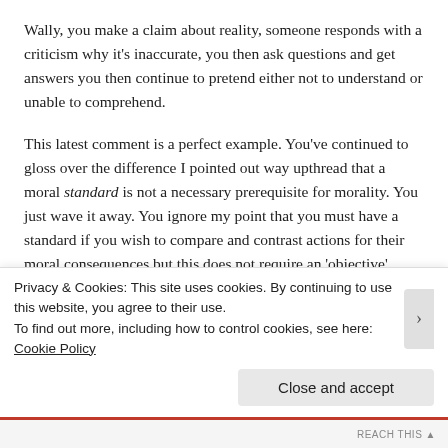Wally, you make a claim about reality, someone responds with a criticism why it’s inaccurate, you then ask questions and get answers you then continue to pretend either not to understand or unable to comprehend.
This latest comment is a perfect example. You’ve continued to gloss over the difference I pointed out way upthread that a moral standard is not a necessary prerequisite for morality. You just wave it away. You ignore my point that you must have a standard if you wish to compare and contrast actions for their moral consequences but this does not require an ‘objective’ universal standard. I’ve spent quite a bit of time explaining why this is so and then offered many examples of
Privacy & Cookies: This site uses cookies. By continuing to use this website, you agree to their use.
To find out more, including how to control cookies, see here: Cookie Policy
Close and accept